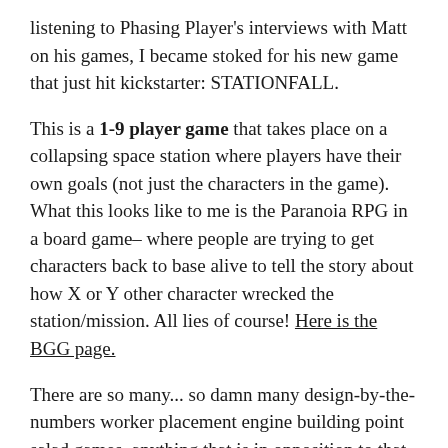listening to Phasing Player's interviews with Matt on his games, I became stoked for his new game that just hit kickstarter: STATIONFALL.
This is a 1-9 player game that takes place on a collapsing space station where players have their own goals (not just the characters in the game). What this looks like to me is the Paranoia RPG in a board game– where people are trying to get characters back to base alive to tell the story about how X or Y other character wrecked the station/mission. All lies of course! Here is the BGG page.
There are so many... so damn many design-by-the-numbers worker placement engine building point salad games, anything that is in opposition to that gets my attention and should yours!